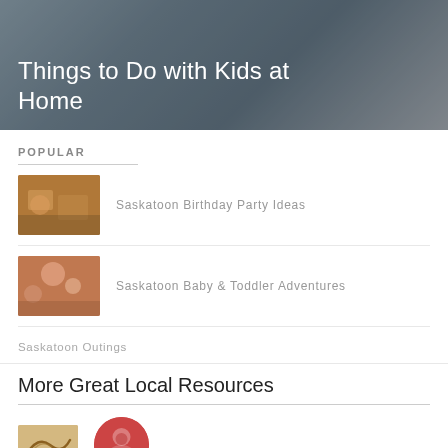[Figure (photo): Hero image of adults and child with bicycle, with semi-transparent dark overlay]
Things to Do with Kids at Home
POPULAR
[Figure (photo): Thumbnail of birthday party with cake and children]
Saskatoon Birthday Party Ideas
[Figure (photo): Thumbnail of mother with baby and toddler]
Saskatoon Baby & Toddler Adventures
Saskatoon Outings
More Great Local Resources
[Figure (logo): Cursive logo placeholder]
[Figure (logo): Circular red logo placeholder]